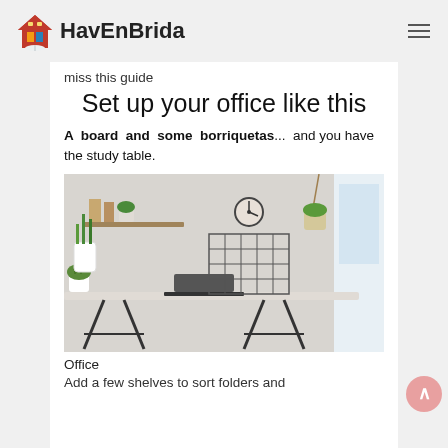HavEnBrida
miss this guide
Set up your office like this
A board and some borriquetas... and you have the study table.
[Figure (photo): A home office setup with a light-colored desk on sawhorses, a laptop, plants, wall shelves, hanging plants, a clock, and a pegboard/grid organizer on the wall.]
Office
Add a few shelves to sort folders and